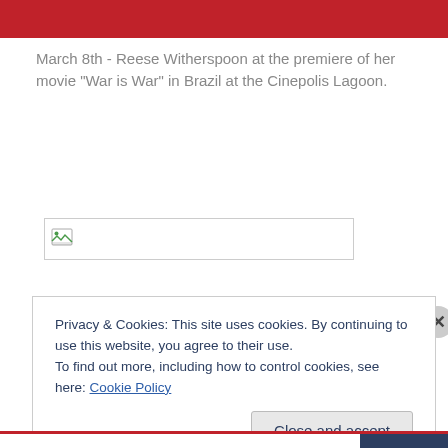[Figure (other): Red banner/header bar at top of page]
March 8th - Reese Witherspoon at the premiere of her movie "War is War" in Brazil at the Cinepolis Lagoon.
[Figure (photo): Broken/missing image placeholder box]
Privacy & Cookies: This site uses cookies. By continuing to use this website, you agree to their use.
To find out more, including how to control cookies, see here: Cookie Policy
Close and accept